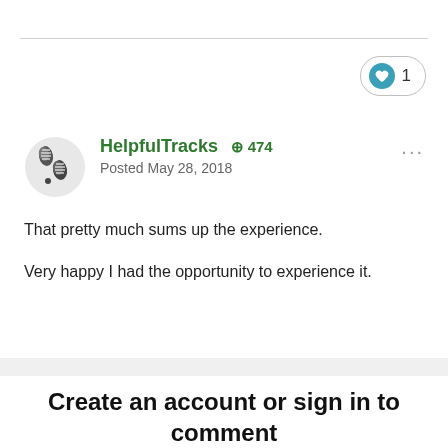[Figure (other): Like button with heart icon showing count of 1]
HelpfulTracks  +474
Posted May 28, 2018
That pretty much sums up the experience.
Very happy I had the opportunity to experience it.
Create an account or sign in to comment
You need to be a member in order to leave a comment
Create an account